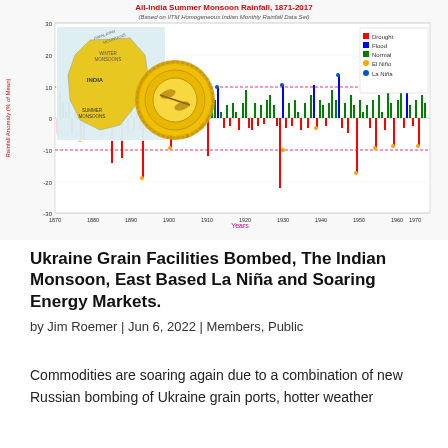[Figure (continuous-plot): Bar chart showing All-India Summer Monsoon Rainfall anomaly (% of Mean) from 1870 to 2017. Bars colored red (Drought), blue (Flood), green (Normal), with El Niño and La Niña markers. Overlaid with a map of India showing Winter Monsoons and Summer Monsoons, and a gold seal/badge. Two dashed pink horizontal reference lines at approximately +10 and -10.]
Ukraine Grain Facilities Bombed, The Indian Monsoon, East Based La Niña and Soaring Energy Markets.
by Jim Roemer | Jun 6, 2022 | Members, Public
Commodities are soaring again due to a combination of new Russian bombing of Ukraine grain ports, hotter weather